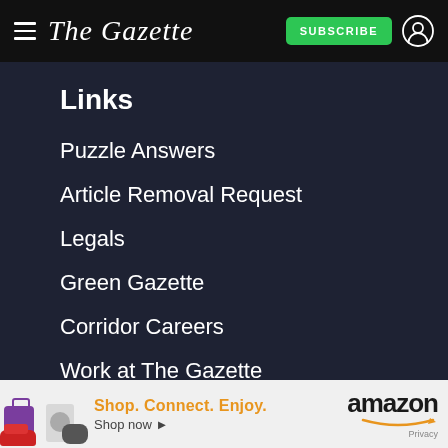The Gazette — SUBSCRIBE
Links
Puzzle Answers
Article Removal Request
Legals
Green Gazette
Corridor Careers
Work at The Gazette
Become a Carrier
[Figure (other): Amazon advertisement banner: Shop. Connect. Enjoy. Shop now — amazon. Privacy. Shows shoes, Xbox controller, and speaker images.]